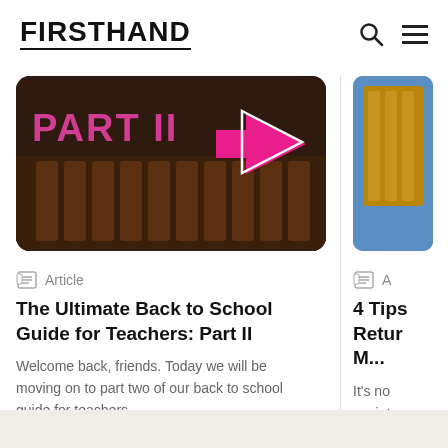FIRSTHAND
[Figure (screenshot): Article thumbnail showing piano keys interior with text PART II and a pink arrow pointing right]
Article
The Ultimate Back to School Guide for Teachers: Part II
Welcome back, friends. Today we will be moving on to part two of our back to school guide for teachers.
[Figure (photo): Partially visible thumbnail of a second article showing wooden shelving]
A
4 Tips Retur M...
It's no anxiet work a chang